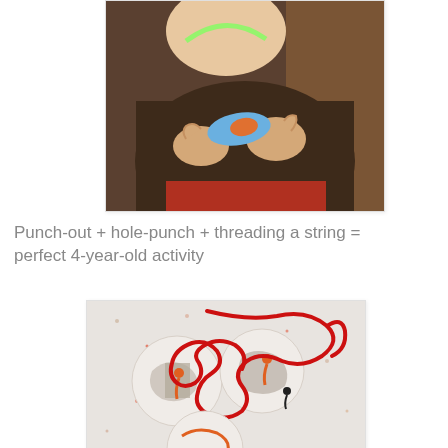[Figure (photo): Child in brown sweater holding a small blue oval punched-out craft piece, examining it closely]
Punch-out + hole-punch + threading a string = perfect 4-year-old activity
[Figure (photo): Round punched-out craft pieces on a speckled surface with red string threaded through them]